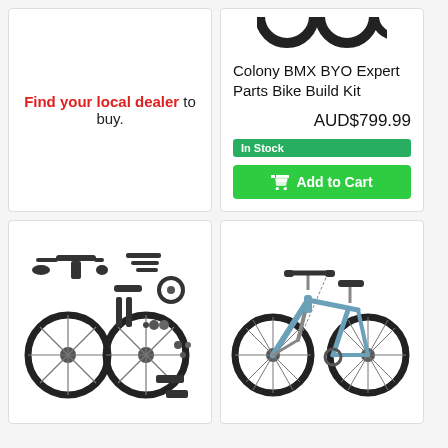Find your local dealer to buy.
Colony BMX BYO Expert Parts Bike Build Kit
AUD$799.99
In Stock
Add to Cart
[Figure (photo): Exploded view of BMX bike parts laid out flat including wheels, frame components, handlebars, cranks, pedals, and hardware on white background]
[Figure (photo): Side view of a complete BMX bike in blue/teal color with black tires and silver spokes on white background]